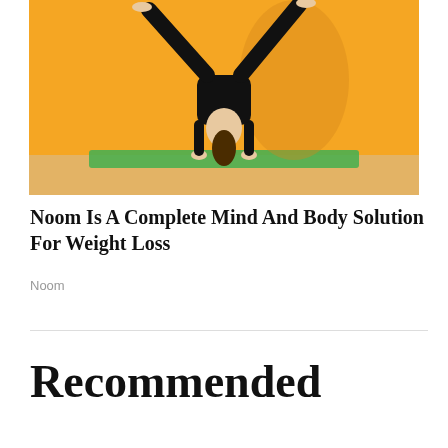[Figure (photo): Person doing a handstand against an orange wall, wearing black workout clothes, on a green yoga mat]
Noom Is A Complete Mind And Body Solution For Weight Loss
Noom
Recommended